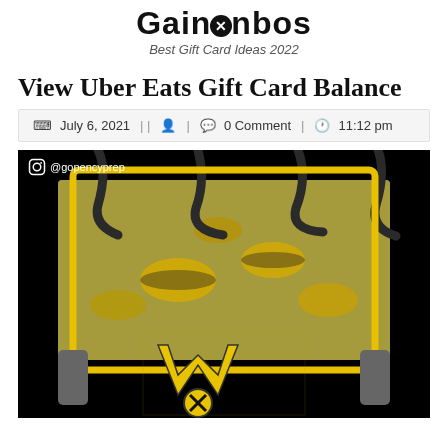Gainonbos
Best Gift Card Ideas 2022
View Uber Eats Gift Card Balance
July 6, 2021 || [author icon] | [comment icon] 0 Comment | [clock icon] 11:12 pm
[Figure (illustration): Illustration with Instagram watermark @gopencyprep showing yellow and black bees with a Wu-Tang Clan style logo in yellow on a black background, surrounded by bee imagery and dark twisted frames]